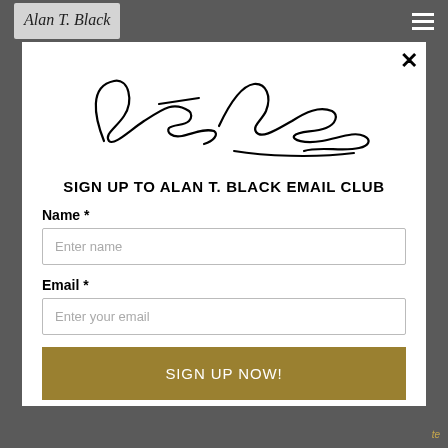[Figure (logo): Alan T. Black cursive signature logo in small size in header bar]
[Figure (logo): Alan T. Black large cursive signature logo in modal]
SIGN UP TO ALAN T. BLACK EMAIL CLUB
Name *
Enter name
Email *
Enter your email
SIGN UP NOW!